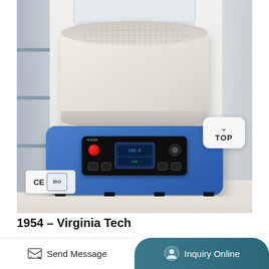[Figure (photo): Laboratory heating mantle with a glass flask on top, mounted on a blue magnetic stirrer/hot plate base with digital control panel showing display and buttons. CE and ISO certification badges visible at bottom left. A 'TOP' navigation button is visible at the upper right of the image. Lab shelving is visible in the background.]
1954 – Virginia Tech
Send Message
Inquiry Online